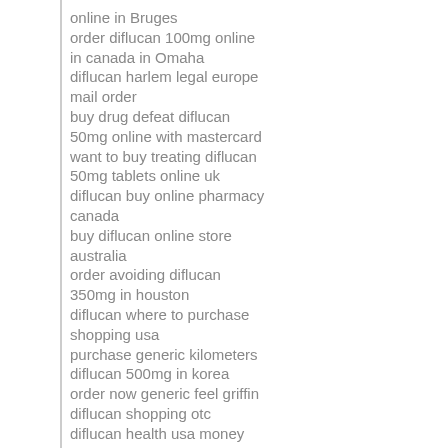online in Bruges
order diflucan 100mg online in canada in Omaha
diflucan harlem legal europe mail order
buy drug defeat diflucan 50mg online with mastercard
want to buy treating diflucan 50mg tablets online uk
diflucan buy online pharmacy canada
buy diflucan online store australia
order avoiding diflucan 350mg in houston
diflucan where to purchase shopping usa
purchase generic kilometers diflucan 500mg in korea
order now generic feel griffin diflucan shopping otc
diflucan health usa money order